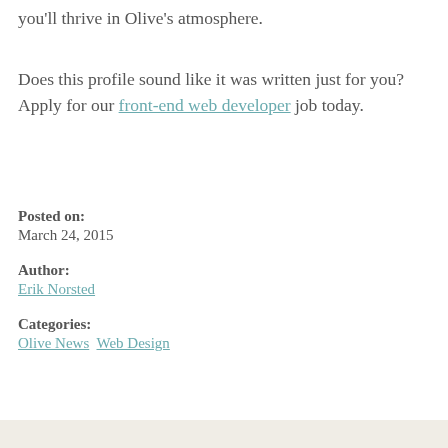you'll thrive in Olive's atmosphere.
Does this profile sound like it was written just for you? Apply for our front-end web developer job today.
Posted on:
March 24, 2015
Author:
Erik Norsted
Categories:
Olive News Web Design